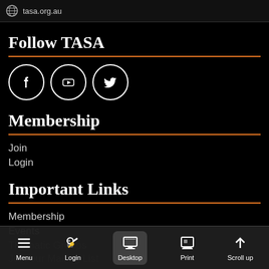tasa.org.au
Follow TASA
[Figure (other): Social media icons: Facebook, YouTube, Twitter in circles]
Membership
Join
Login
Important Links
Membership
Events
Thematic Groups
Join our Mailing List
Menu  Login  Desktop  Print  Scroll up